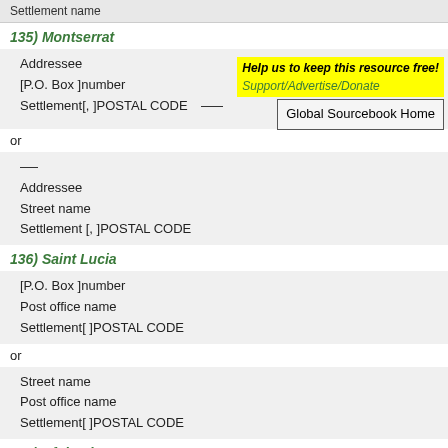Settlement name
135) Montserrat
Addressee
[P.O. Box ]number
Settlement[, ]POSTAL CODE
Help us to keep this resource free!
Support/Advertise/Donate
Global Sourcebook Home
or
Addressee
Street name
Settlement [, ]POSTAL CODE
136) Saint Lucia
[P.O. Box ]number
Post office name
Settlement[ ]POSTAL CODE
or
Street name
Post office name
Settlement[ ]POSTAL CODE
137) Afghanistan
Contact Name
Address components
SETTLEMENT